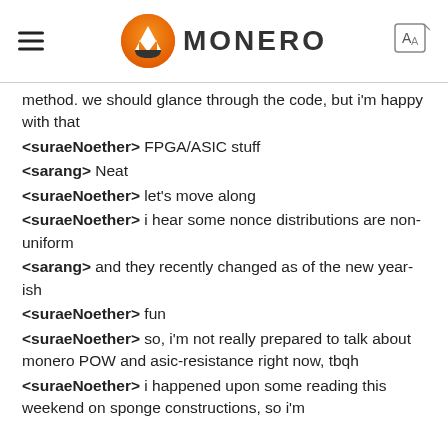MONERO
method. we should glance through the code, but i'm happy with that
<suraeNoether> FPGA/ASIC stuff
<sarang> Neat
<suraeNoether> let's move along
<suraeNoether> i hear some nonce distributions are non-uniform
<sarang> and they recently changed as of the new year-ish
<suraeNoether> fun
<suraeNoether> so, i'm not really prepared to talk about monero POW and asic-resistance right now, tbqh
<suraeNoether> i happened upon some reading this weekend on sponge constructions, so i'm